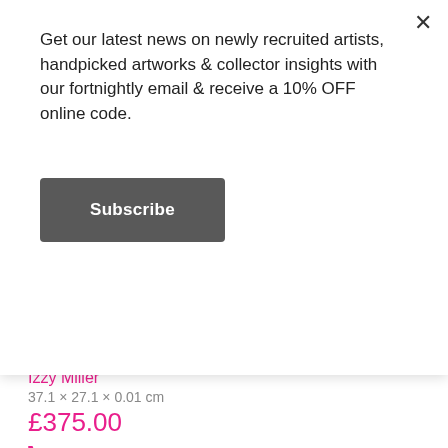Get our latest news on newly recruited artists, handpicked artworks & collector insights with our fortnightly email & receive a 10% OFF online code.
Subscribe
[Figure (photo): Dark textured banner strip at top of product section]
BOSTON
Izzy Miller
37.1 × 27.1 × 0.01 cm
£375.00
[Figure (illustration): Colorful urban city street scene artwork by Izzy Miller titled Boston, showing storefronts, cars, buildings with signs including PLAYERS, SMOKE, FACTOR, BP, WRIGLEY'S]